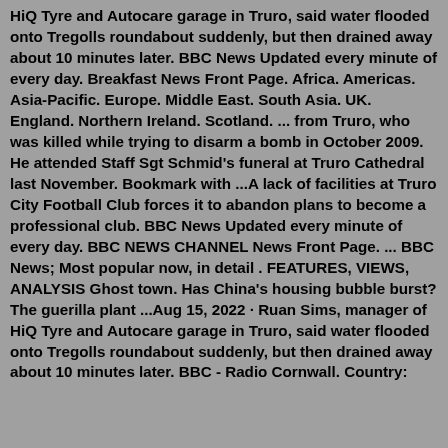HiQ Tyre and Autocare garage in Truro, said water flooded onto Tregolls roundabout suddenly, but then drained away about 10 minutes later. BBC News Updated every minute of every day. Breakfast News Front Page. Africa. Americas. Asia-Pacific. Europe. Middle East. South Asia. UK. England. Northern Ireland. Scotland. ... from Truro, who was killed while trying to disarm a bomb in October 2009. He attended Staff Sgt Schmid's funeral at Truro Cathedral last November. Bookmark with ...A lack of facilities at Truro City Football Club forces it to abandon plans to become a professional club. BBC News Updated every minute of every day. BBC NEWS CHANNEL News Front Page. ... BBC News; Most popular now, in detail . FEATURES, VIEWS, ANALYSIS Ghost town. Has China's housing bubble burst? The guerilla plant ...Aug 15, 2022 · Ruan Sims, manager of HiQ Tyre and Autocare garage in Truro, said water flooded onto Tregolls roundabout suddenly, but then drained away about 10 minutes later. BBC - Radio Cornwall. Country: